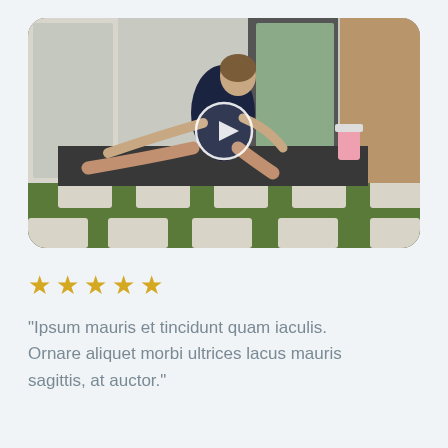[Figure (photo): A man doing a stretching/yoga pose on a mat outside, reaching forward toward his extended leg. He is wearing a dark tank top. A pink smoothie glass is visible nearby. A play button overlay is centered on the image, indicating a video thumbnail.]
★★★★★
"Ipsum mauris et tincidunt quam iaculis. Ornare aliquet morbi ultrices lacus mauris sagittis, at auctor."